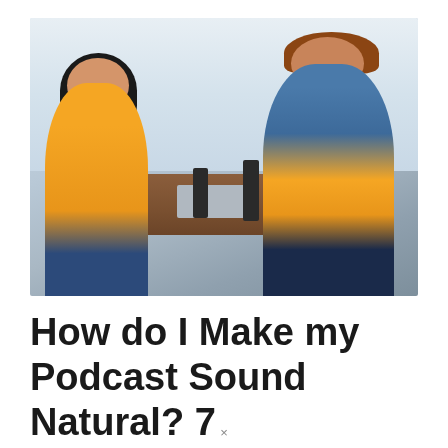[Figure (photo): Two people sitting across from each other at a wooden table with podcast microphones and a laptop between them. The woman on the left wears a yellow top and has long dark hair. The man on the right has reddish hair, wears a denim jacket over an orange shirt. They appear to be having a podcast conversation.]
How do I Make my Podcast Sound Natural? 7